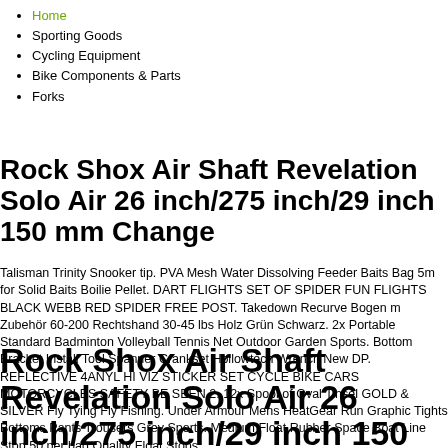Home
Sporting Goods
Cycling Equipment
Bike Components & Parts
Forks
Rock Shox Air Shaft Revelation Solo Air 26 inch/275 inch/29 inch 150 mm Change
Talisman Trinity Snooker tip. PVA Mesh Water Dissolving Feeder Baits Bag 5m for Solid Baits Boilie Pellet. DART FLIGHTS SET OF SPIDER FUN FLIGHTS BLACK WEBB RED SPIDER FREE POST. Takedown Recurve Bogen m Zubehör 60-200 Rechtshand 30-45 lbs Holz Grün Schwarz. 2x Portable Standard Badminton Volleyball Tennis Net Outdoor Garden Sports. Bottom Bracket Install Tool Spanner Crankset Hollowtech Wrench New DP. REFLECTIVE 4ANYL HI VIZ STICKER SET CYCLE BIKE CARS MOTORCYCLES SAFETY BE SEEN 2. 12x Spool of Oval Tinsel GOLD & SILVER Fly Tying Fly Fishing. Under Armour Mens HeatGear Run Graphic Tights Bottoms Pants Trousers Grey Sports. Medium Float Rubber Space Boat Line Stop 50 per bag Quality Float Stops.
Rock Shox Air Shaft Revelation Solo Air 26 inch/275 inch/29 inch 150 mm Change